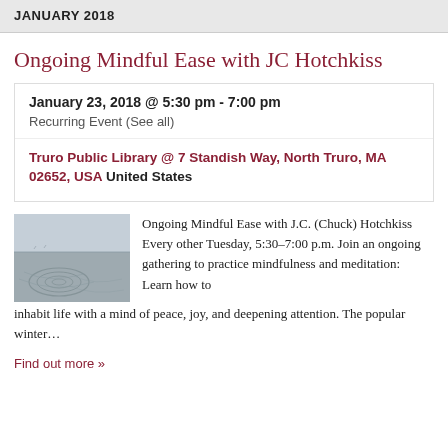JANUARY 2018
Ongoing Mindful Ease with JC Hotchkiss
January 23, 2018 @ 5:30 pm - 7:00 pm
Recurring Event (See all)
Truro Public Library @ 7 Standish Way, North Truro, MA 02652, USA United States
[Figure (photo): Photograph of circular patterns drawn in sand on a beach, likely ripple or labyrinth patterns, with a hazy sky in the background.]
Ongoing Mindful Ease with J.C. (Chuck) Hotchkiss Every other Tuesday, 5:30–7:00 p.m. Join an ongoing gathering to practice mindfulness and meditation:  Learn how to inhabit life with a mind of peace, joy, and deepening attention. The popular winter…
Find out more »